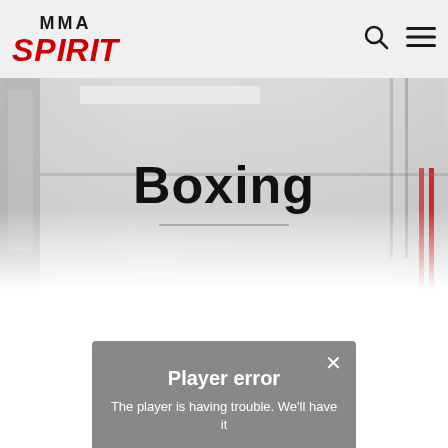[Figure (logo): MMA Spirit logo — 'MMA' in black bold uppercase above 'SPIRIT' in red bold italic uppercase]
[Figure (illustration): Search icon (magnifying glass) in the header navigation]
[Figure (illustration): Hamburger menu icon (three horizontal lines) in the header navigation]
[Figure (photo): Blurred background photo of a boxing gym interior with lockers and a red-accented boxing ring]
Boxing
Player error
The player is having trouble. We'll have it